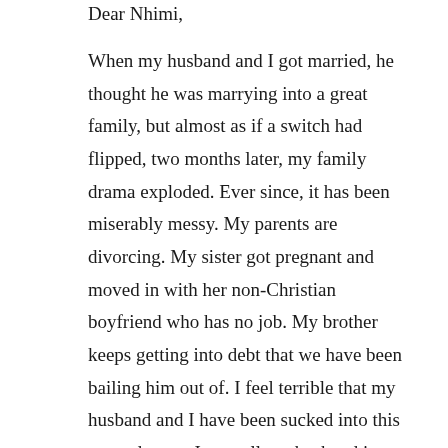Dear Nhimi,
When my husband and I got married, he thought he was marrying into a great family, but almost as if a switch had flipped, two months later, my family drama exploded. Ever since, it has been miserably messy. My parents are divorcing. My sister got pregnant and moved in with her non-Christian boyfriend who has no job. My brother keeps getting into debt that we have been bailing him out of. I feel terrible that my husband and I have been sucked into this nasty drama. I can tell my husband is starting to feel very